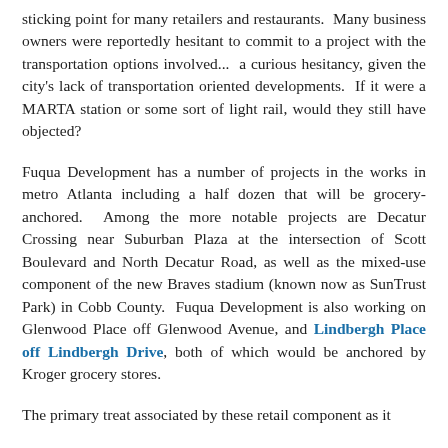sticking point for many retailers and restaurants. Many business owners were reportedly hesitant to commit to a project with the transportation options involved... a curious hesitancy, given the city's lack of transportation oriented developments. If it were a MARTA station or some sort of light rail, would they still have objected?
Fuqua Development has a number of projects in the works in metro Atlanta including a half dozen that will be grocery-anchored. Among the more notable projects are Decatur Crossing near Suburban Plaza at the intersection of Scott Boulevard and North Decatur Road, as well as the mixed-use component of the new Braves stadium (known now as SunTrust Park) in Cobb County. Fuqua Development is also working on Glenwood Place off Glenwood Avenue, and Lindbergh Place off Lindbergh Drive, both of which would be anchored by Kroger grocery stores.
The primary...